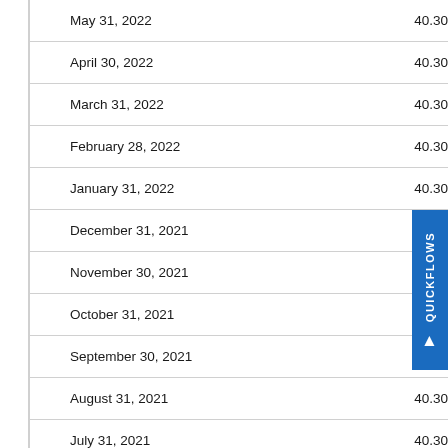| Date | Rate | Date (continued) |
| --- | --- | --- |
| May 31, 2022 | 40.30% | April 30, 2020 |
| April 30, 2022 | 40.30% | March 31, 2020 |
| March 31, 2022 | 40.30% | February ... |
| February 28, 2022 | 40.30% | January ... |
| January 31, 2022 | 40.30% | Decemb... |
| December 31, 2021 | 40.30% | November 30, 2... |
| November 30, 2021 | 40.30% | October 31, 201... |
| October 31, 2021 | 40.30% | September 30, 2... |
| September 30, 2021 | 40.30% | August 31, 2019... |
| August 31, 2021 | 40.30% | July 31, 2019 |
| July 31, 2021 | 40.30% | June 30, 2019 |